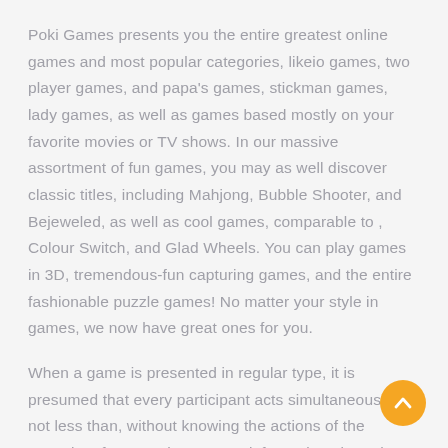Poki Games presents you the entire greatest online games and most popular categories, likeio games, two player games, and papa's games, stickman games, lady games, as well as games based mostly on your favorite movies or TV shows. In our massive assortment of fun games, you may as well discover classic titles, including Mahjong, Bubble Shooter, and Bejeweled, as well as cool games, comparable to , Colour Switch, and Glad Wheels. You can play games in 3D, tremendous-fun capturing games, and the entire fashionable puzzle games! No matter your style in games, we now have great ones for you.
When a game is presented in regular type, it is presumed that every participant acts simultaneously or, not less than, without knowing the actions of the opposite. If gamers have some information about the alternatives of different players, the sport is usually presented in